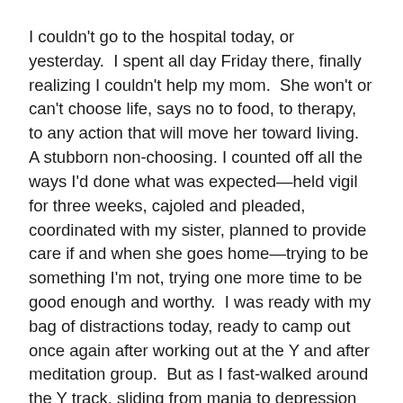I couldn't go to the hospital today, or yesterday.  I spent all day Friday there, finally realizing I couldn't help my mom.  She won't or can't choose life, says no to food, to therapy, to any action that will move her toward living.  A stubborn non-choosing. I counted off all the ways I'd done what was expected—held vigil for three weeks, cajoled and pleaded, coordinated with my sister, planned to provide care if and when she goes home—trying to be something I'm not, trying one more time to be good enough and worthy.  I was ready with my bag of distractions today, ready to camp out once again after working out at the Y and after meditation group.  But as I fast-walked around the Y track, sliding from mania to depression with the rope smoking my hands, I chose life.
Today, I sucked in the cool air.  I lifted my eyes to the white——